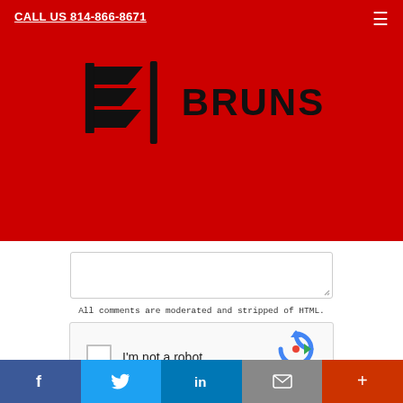CALL US 814-866-8671
[Figure (logo): Bruns company logo with stylized B and vertical bar, on red background, with BRUNS text]
All comments are moderated and stripped of HTML.
[Figure (screenshot): reCAPTCHA widget with checkbox and I'm not a robot label, reCAPTCHA branding, Privacy and Terms links]
Post Comment
NOTICE: This blog and website are made available by publisher for educational and informational
Facebook Twitter LinkedIn Email Plus